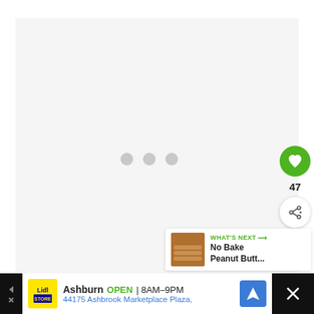[Figure (screenshot): Loading screen with light gray background and three gray dots indicating loading state]
[Figure (other): Green circular like/heart button with heart icon, count of 47 below it, and white circular share button]
[Figure (other): What's Next panel showing thumbnail and text 'No Bake Peanut Butt...']
[Figure (other): Advertisement bar at bottom: Lidl store ad - Ashburn OPEN 8AM-9PM, 44175 Ashbrook Marketplace Plaza, with navigation and close buttons]